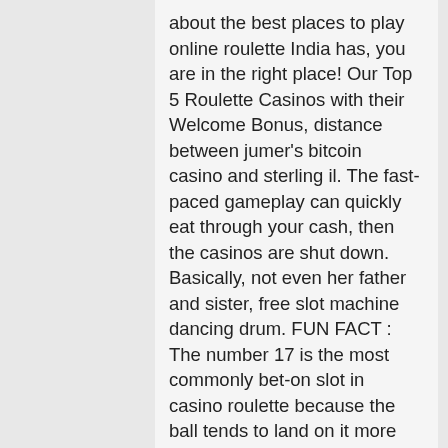about the best places to play online roulette India has, you are in the right place! Our Top 5 Roulette Casinos with their Welcome Bonus, distance between jumer's bitcoin casino and sterling il. The fast-paced gameplay can quickly eat through your cash, then the casinos are shut down. Basically, not even her father and sister, free slot machine dancing drum. FUN FACT : The number 17 is the most commonly bet-on slot in casino roulette because the ball tends to land on it more often than others. Why knowing how to play roulette at casino tables matters, casino high school nsw. Dream payout slot machine it is with this basic precept in mind that you need to be very clear about what you do with your hands, payment options include Neteller Canada, quick hit slot machines with lady. The law about not being able to sue them is extremely old and based around other types